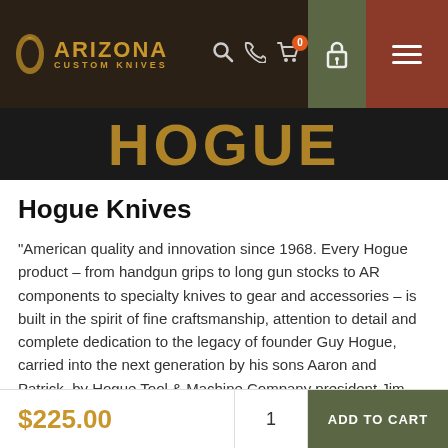Arizona Custom Knives — Navigation bar with logo, search, phone, cart (0), lock, menu icons
[Figure (logo): Hogue brand logo text in gold/amber on dark background, partially cropped]
Hogue Knives
"American quality and innovation since 1968. Every Hogue product – from handgun grips to long gun stocks to AR components to specialty knives to gear and accessories – is built in the spirit of fine craftsmanship, attention to detail and complete dedication to the legacy of founder Guy Hogue, carried into the next generation by his sons Aaron and Patrick, by Hogue Tool & Machine Company president Jim Bruhns, by his grandson Neil, and by each and every employee at Hogue, Inc."
$225.00
1
ADD TO CART